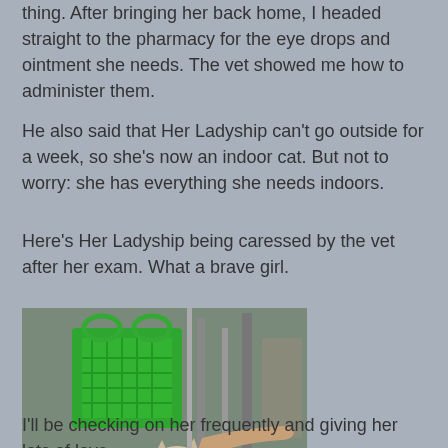thing. After bringing her back home, I headed straight to the pharmacy for the eye drops and ointment she needs. The vet showed me how to administer them.
He also said that Her Ladyship can't go outside for a week, so she's now an indoor cat. But not to worry: she has everything she needs indoors.
Here's Her Ladyship being caressed by the vet after her exam. What a brave girl.
[Figure (photo): A Siamese or Himalayan cat sitting on a metal veterinary exam table, being petted by a person's hand reaching from the right. A green plastic basket/bag is visible in the background along with veterinary equipment.]
I'll be checking on her frequently and giving her lots of love